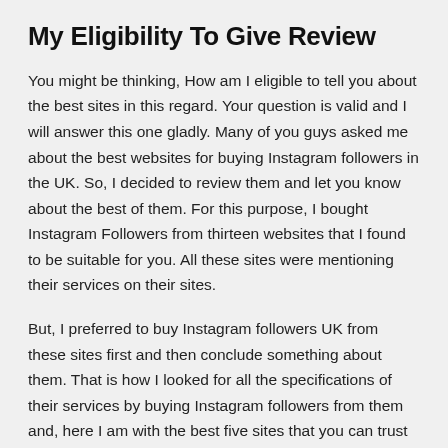My Eligibility To Give Review
You might be thinking, How am I eligible to tell you about the best sites in this regard. Your question is valid and I will answer this one gladly. Many of you guys asked me about the best websites for buying Instagram followers in the UK. So, I decided to review them and let you know about the best of them. For this purpose, I bought Instagram Followers from thirteen websites that I found to be suitable for you. All these sites were mentioning their services on their sites.
But, I preferred to buy Instagram followers UK from these sites first and then conclude something about them. That is how I looked for all the specifications of their services by buying Instagram followers from them and, here I am with the best five sites that you can trust for buying